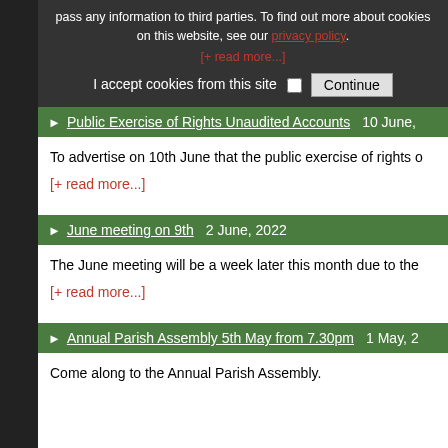pass any information to third parties. To find out more about cookies on this website, see our privacy policy.
[+ read more...]
I accept cookies from this site  Continue
Public Exercise of Rights Unaudited Accounts   10 June,
To advertise on 10th June that the public exercise of rights o
[+ read more...]
June meeting on 9th   2 June, 2022
The June meeting will be a week later this month due to the
[+ read more...]
Annual Parish Assembly 5th May from 7.30pm   1 May, 2
Come along to the Annual Parish Assembly.